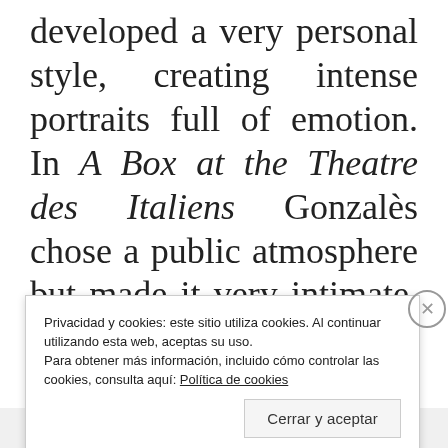developed a very personal style, creating intense portraits full of emotion. In A Box at the Theatre des Italiens Gonzalès chose a public atmosphere but made it very intimate, due to the black background and the amazing detail in the clothing and accessories of the two people
Privacidad y cookies: este sitio utiliza cookies. Al continuar utilizando esta web, aceptas su uso.
Para obtener más información, incluido cómo controlar las cookies, consulta aquí: Política de cookies
Cerrar y aceptar